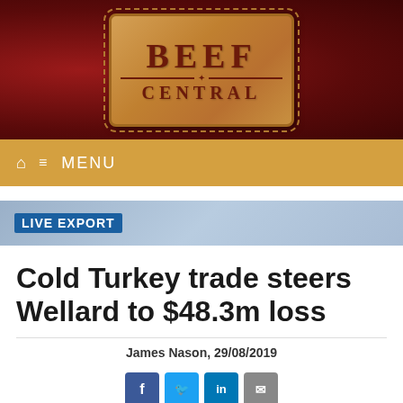[Figure (logo): Beef Central logo on dark red leather texture background with leather badge showing BEEF CENTRAL text]
MENU
LIVE EXPORT
Cold Turkey trade steers Wellard to $48.3m loss
James Nason, 29/08/2019
[Figure (other): Social media sharing buttons: Facebook, Twitter, LinkedIn, Email]